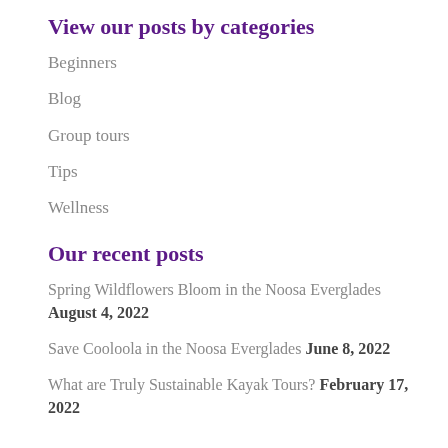View our posts by categories
Beginners
Blog
Group tours
Tips
Wellness
Our recent posts
Spring Wildflowers Bloom in the Noosa Everglades August 4, 2022
Save Cooloola in the Noosa Everglades June 8, 2022
What are Truly Sustainable Kayak Tours? February 17, 2022